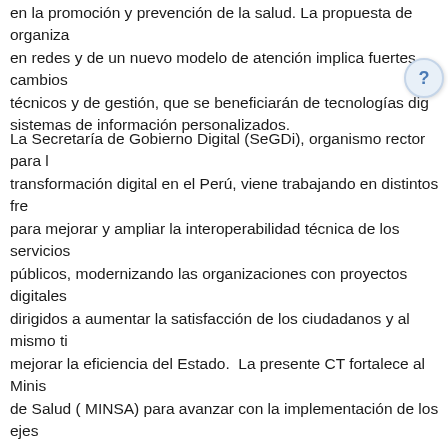en la promoción y prevención de la salud. La propuesta de organiza en redes y de un nuevo modelo de atención implica fuertes cambios técnicos y de gestión, que se beneficiarán de tecnologías dig sistemas de información personalizados.
La Secretaría de Gobierno Digital (SeGDi), organismo rector para la transformación digital en el Perú, viene trabajando en distintos fre para mejorar y ampliar la interoperabilidad técnica de los servicios públicos, modernizando las organizaciones con proyectos digitales dirigidos a aumentar la satisfacción de los ciudadanos y al mismo ti mejorar la eficiencia del Estado. La presente CT fortalece al Minis de Salud ( MINSA) para avanzar con la implementación de los ejes estratégicos propuestos, por medio de algunos productos claves, como son la definición de la hoja de ruta para la transformación digital, un mape soluciones tecnológicas, una encuesta de medición de acceso y uso de tecnología, un diagnóstico ciberseguridad con apoyo de la división IFD/ICS, y el uso de design thinking para el diseño de